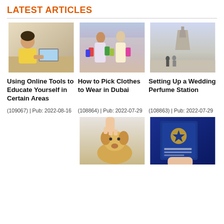LATEST ARTICLES
[Figure (photo): Young man in yellow shirt smiling while working at a laptop at a desk]
[Figure (photo): Two women with shopping bags on a city street]
[Figure (photo): Two people walking near the Eiffel Tower in Paris]
Using Online Tools to Educate Yourself in Certain Areas
How to Pick Clothes to Wear in Dubai
Setting Up a Wedding Perfume Station
(108864) | Pub: 2022-07-29
(108863) | Pub: 2022-07-29
(109067) | Pub: 2022-08-16
[Figure (photo): A hand feeding a dog (Corgi) a treat]
[Figure (photo): A hand holding a British passport]